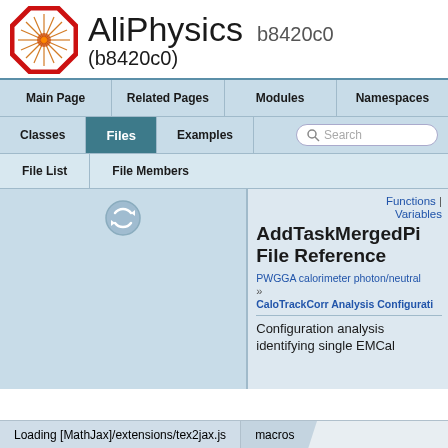AliPhysics b8420c0 (b8420c0)
Main Page | Related Pages | Modules | Namespaces
Classes | Files | Examples | Search
File List | File Members
Functions | Variables
AddTaskMergedPi File Reference
PWGGA calorimeter photon/neutral
»
CaloTrackCorr Analysis Configurati
Configuration analysis identifying single EMCal
Loading [MathJax]/extensions/tex2jax.js   macros